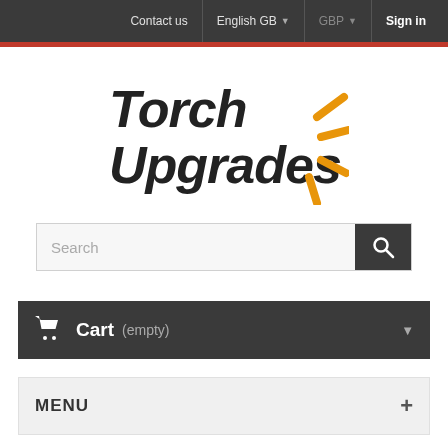Contact us  English GB  GBP  Sign in
[Figure (logo): Torch Upgrades logo with stylized text and orange ray/lightning bolt graphic]
Search
Cart (empty)
MENU